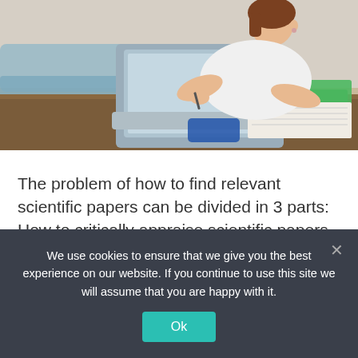[Figure (photo): A young woman lying on a table studying with a laptop, writing in a notebook, with green folders and a phone nearby in a home setting.]
The problem of how to find relevant scientific papers can be divided in 3 parts: How to critically appraise scientific papers. i.e. is the paper worth reading?  How to find the right scientific
We use cookies to ensure that we give you the best experience on our website. If you continue to use this site we will assume that you are happy with it.